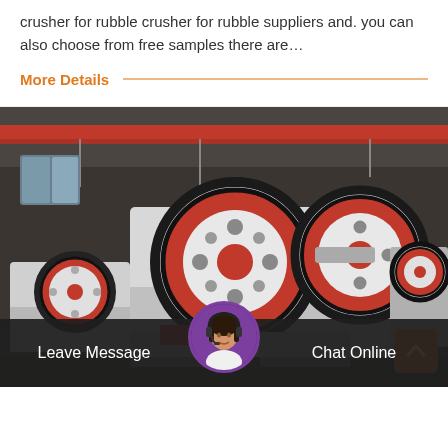crusher for rubble crusher for rubble suppliers and. you can also choose from free samples there are…
More Details
[Figure (photo): Industrial jaw crushers or grinding machines with large red and white flywheels in a factory setting with red overhead crane beams.]
Leave Message
Chat Online